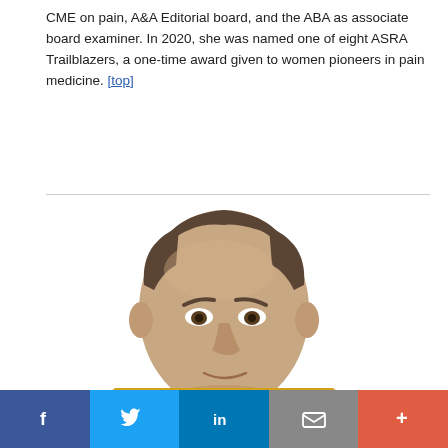CME on pain, A&A Editorial board, and the ABA as associate board examiner. In 2020, she was named one of eight ASRA Trailblazers, a one-time award given to women pioneers in pain medicine. [top]
[Figure (photo): Headshot photo of a middle-aged man with short dark hair, slight balding on top, against a white background]
This website uses cookies to ensure you get the best experience on our website. Learn more
Got it!